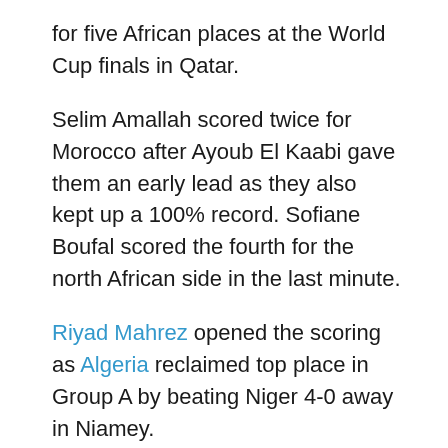for five African places at the World Cup finals in Qatar.
Selim Amallah scored twice for Morocco after Ayoub El Kaabi gave them an early lead as they also kept up a 100% record. Sofiane Boufal scored the fourth for the north African side in the last minute.
Riyad Mahrez opened the scoring as Algeria reclaimed top place in Group A by beating Niger 4-0 away in Niamey.
The African champions lead Burkina Faso on goal difference, with the two countries set for a